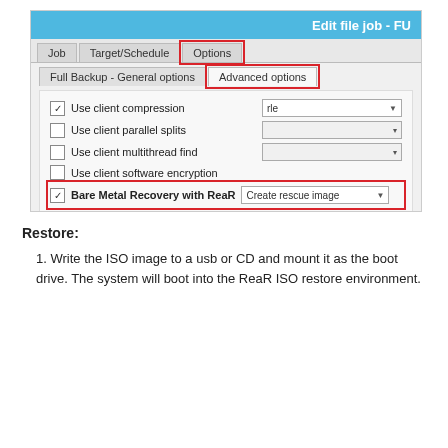[Figure (screenshot): Screenshot of a backup software dialog showing 'Edit file job - FU' with tabs: Job, Target/Schedule, Options (highlighted in red). Sub-tabs: Full Backup - General options, Advanced options (highlighted in red). Options include: Use client compression (checked, rle dropdown), Use client parallel splits, Use client multithread find, Use client software encryption, Bare Metal Recovery with ReaR (checked, Create rescue image dropdown). The BMR row and Options and Advanced options tabs are highlighted with red borders.]
Restore:
1. Write the ISO image to a usb or CD and mount it as the boot drive. The system will boot into the ReaR ISO restore environment.